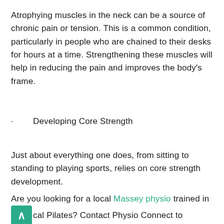Atrophying muscles in the neck can be a source of chronic pain or tension. This is a common condition, particularly in people who are chained to their desks for hours at a time. Strengthening these muscles will help in reducing the pain and improves the body's frame.
·        Developing Core Strength
Just about everything one does, from sitting to standing to playing sports, relies on core strength development.
Are you looking for a local Massey physio trained in Clinical Pilates? Contact Physio Connect to schedule an initial assessment. We have a highly qualified team who offer a wide range of services